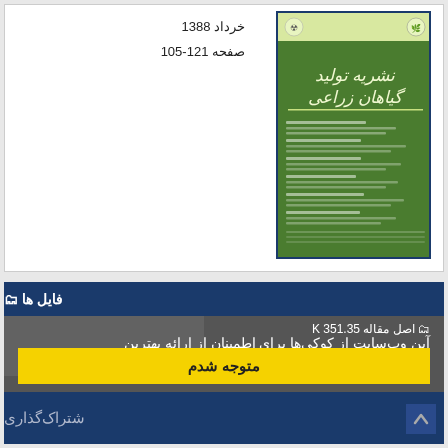خرداد 1388
صفحه 121-105
[Figure (photo): Cover of Iranian agricultural journal 'نشریه تولید گیاهان زراعی' (Journal of Field Crops Production), green cover with Persian text and logos]
فایل ها
این وب‌سایت از کوکی‌ها برای اطمینان از ارائه بهترین خدمات استفاده می‌کند.
اصل مقاله 351.35 K
متوجه شدم
شتراک‌گذاری